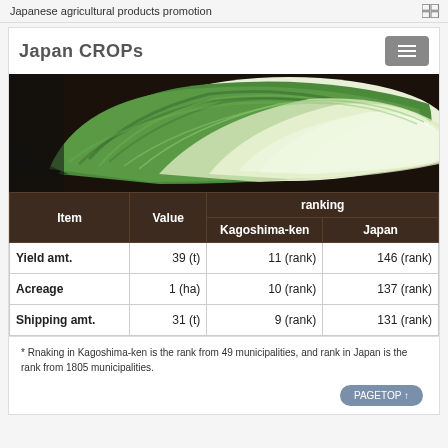Japanese agricultural products promotion
Japan CROPs
[Figure (photo): Close-up photo of a napa cabbage / Chinese cabbage with layered green and white leaves]
| Item | Value | ranking / Kagoshima-ken | ranking / Japan |
| --- | --- | --- | --- |
| Yield amt. | 39 (t) | 11 (rank) | 146 (rank) |
| Acreage | 1 (ha) | 10 (rank) | 137 (rank) |
| Shipping amt. | 31 (t) | 9 (rank) | 131 (rank) |
* Rnaking in Kagoshima-ken is the rank from 49 municipalities, and rank in Japan is the rank from 1805 municipalities.